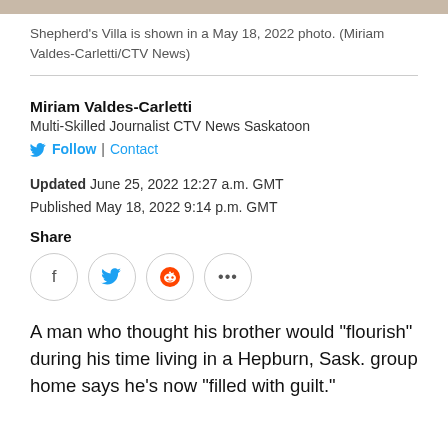[Figure (photo): Top strip showing bottom edge of a photo of Shepherd's Villa]
Shepherd's Villa is shown in a May 18, 2022 photo. (Miriam Valdes-Carletti/CTV News)
Miriam Valdes-Carletti
Multi-Skilled Journalist CTV News Saskatoon
Follow | Contact
Updated June 25, 2022 12:27 a.m. GMT
Published May 18, 2022 9:14 p.m. GMT
Share
A man who thought his brother would "flourish" during his time living in a Hepburn, Sask. group home says he's now "filled with guilt."